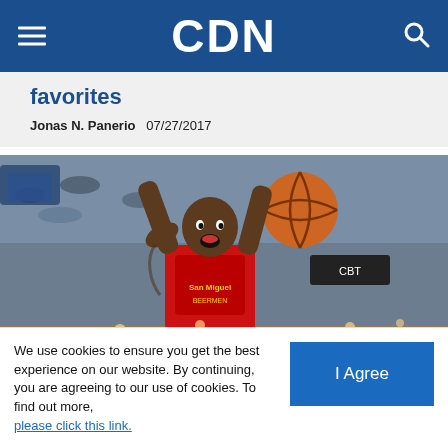CDN
favorites
Jonas N. Panerio  07/27/2017
[Figure (photo): A basketball player in a red San Miguel Beermen jersey dunking or holding a basketball up high with both arms raised and mouth open, in an indoor arena with crowd in background.]
We use cookies to ensure you get the best experience on our website. By continuing, you are agreeing to our use of cookies. To find out more, please click this link.